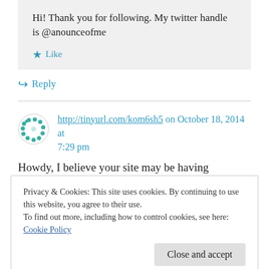Hi! Thank you for following. My twitter handle is @anounceofme
★ Like
↪ Reply
http://tinyurl.com/kom6sh5 on October 18, 2014 at 7:29 pm
Howdy, I believe your site may be having browser compatibility problems
Privacy & Cookies: This site uses cookies. By continuing to use this website, you agree to their use.
To find out more, including how to control cookies, see here: Cookie Policy
Close and accept
heads up! Besides that,